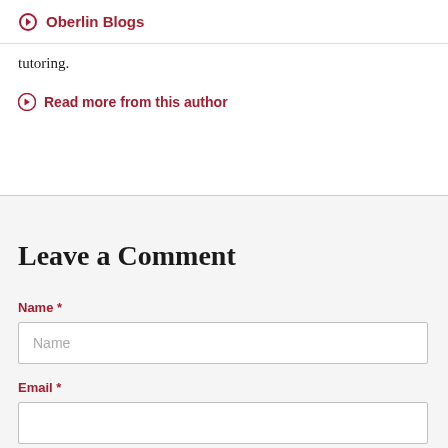Oberlin Blogs
tutoring.
Read more from this author
Leave a Comment
Name *
Email *